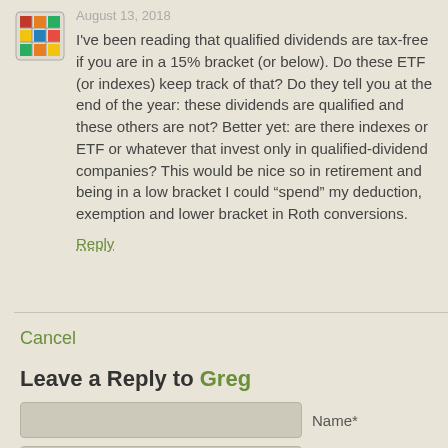August 13, 2016
I've been reading that qualified dividends are tax-free if you are in a 15% bracket (or below). Do these ETF (or indexes) keep track of that? Do they tell you at the end of the year: these dividends are qualified and these others are not? Better yet: are there indexes or ETF or whatever that invest only in qualified-dividend companies? This would be nice so in retirement and being in a low bracket I could “spend” my deduction, exemption and lower bracket in Roth conversions.
Reply
Cancel
Leave a Reply to Greg
Name*
E-Mail*
Website